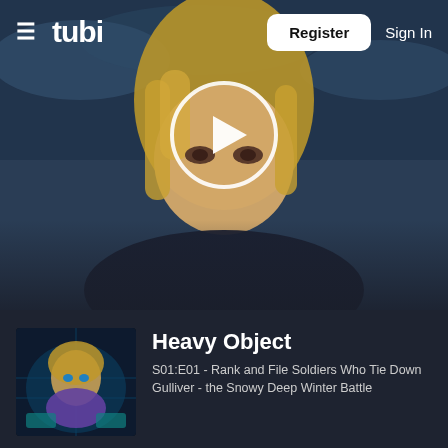[Figure (screenshot): Tubi streaming website screenshot showing an anime character (blonde female) as hero banner background with a play button overlay, navigation bar with hamburger menu, Tubi logo, Register button, and Sign In link]
≡  tubi    Register   Sign In
Heavy Object
S01:E01 - Rank and File Soldiers Who Tie Down Gulliver - the Snowy Deep Winter Battle